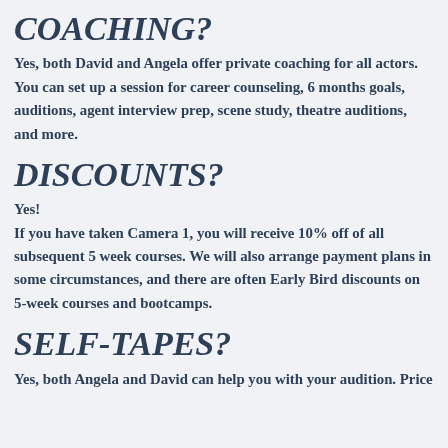COACHING?
Yes, both David and Angela offer private coaching for all actors. You can set up a session for career counseling, 6 months goals, auditions, agent interview prep, scene study, theatre auditions, and more.
DISCOUNTS?
Yes!
If you have taken Camera 1, you will receive 10% off of all subsequent 5 week courses. We will also arrange payment plans in some circumstances, and there are often Early Bird discounts on 5-week courses and bootcamps.
SELF-TAPES?
Yes, both Angela and David can help you with your audition. Price